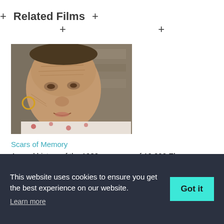Related Films
[Figure (photo): Close-up photo of an elderly woman with deeply wrinkled face, wearing hoop earrings and a floral shirt, in front of a stone wall.]
Scars of Memory
An oral history of the 1932 massacre of 10,000 El Salvadorans, a trauma...
[Figure (photo): Partially visible photo showing a person outdoors, cropped at bottom of page.]
This website uses cookies to ensure you get the best experience on our website.
Learn more
Got it